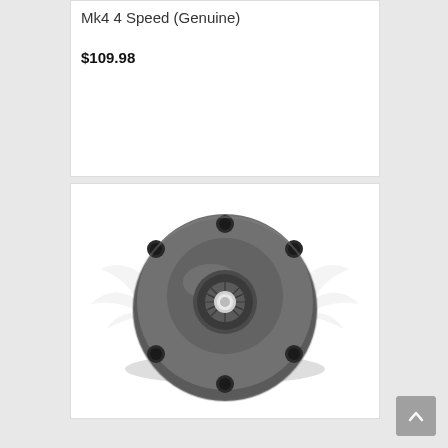Mk4 4 Speed (Genuine)
$109.98
[Figure (photo): Photo of a Mk4 4 Speed genuine automotive wheel hub/flange component. The part is circular with a flat flange face featuring multiple bolt holes around the perimeter, a central splined hub protrusion, and is dark grey/cast iron in appearance. A faint watermark with wing logo is visible in the background.]